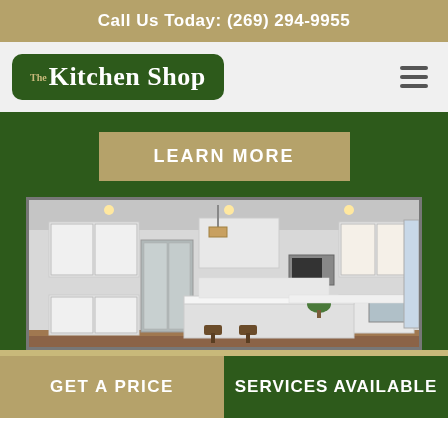Call Us Today: (269) 294-9955
[Figure (logo): The Kitchen Shop logo — white serif text on dark green rounded rectangle background]
[Figure (photo): Modern kitchen interior with white cabinets, stainless steel appliances, kitchen island with bar stools, pendant lighting, and hardwood floors]
LEARN MORE
GET A PRICE
SERVICES AVAILABLE